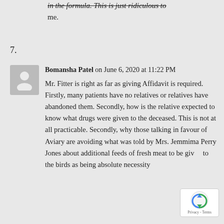in the formula. This is just ridiculous to me.
7.
Bomansha Patel on June 6, 2020 at 11:22 PM
Mr. Fitter is right as far as giving Affidavit is required. Firstly, many patients have no relatives or relatives have abandoned them. Secondly, how is the relative expected to know what drugs were given to the deceased. This is not at all practicable. Secondly, why those talking in favour of Aviary are avoiding what was told by Mrs. Jemmima Perry Jones about additional feeds of fresh meat to be given to the birds as being absolute necessity